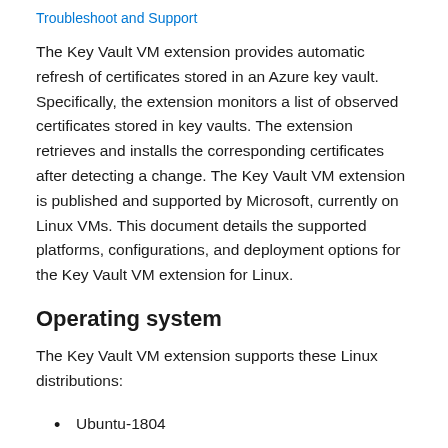Troubleshoot and Support
The Key Vault VM extension provides automatic refresh of certificates stored in an Azure key vault. Specifically, the extension monitors a list of observed certificates stored in key vaults. The extension retrieves and installs the corresponding certificates after detecting a change. The Key Vault VM extension is published and supported by Microsoft, currently on Linux VMs. This document details the supported platforms, configurations, and deployment options for the Key Vault VM extension for Linux.
Operating system
The Key Vault VM extension supports these Linux distributions:
Ubuntu-1804
Suse-15